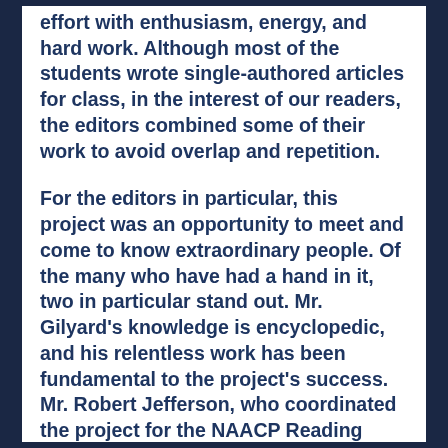effort with enthusiasm, energy, and hard work.  Although most of the students wrote single-authored articles for class, in the interest of our readers, the editors combined some of their work to avoid overlap and repetition.
For the editors in particular, this project was an opportunity to meet and come to know extraordinary people. Of the many who have had a hand in it, two in particular stand out.  Mr. Gilyard's knowledge is encyclopedic, and his relentless work has been fundamental to the project's success.  Mr. Robert Jefferson, who coordinated the project for the NAACP Reading Branch, has been unflagging at